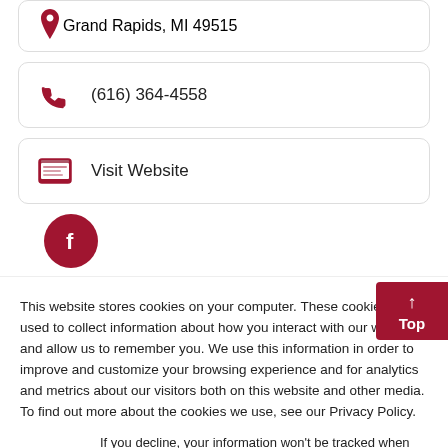Grand Rapids, MI 49515
(616) 364-4558
Visit Website
[Figure (logo): Facebook circle icon in dark red]
[Figure (infographic): Top button with up arrow]
This website stores cookies on your computer. These cookies are used to collect information about how you interact with our website and allow us to remember you. We use this information in order to improve and customize your browsing experience and for analytics and metrics about our visitors both on this website and other media. To find out more about the cookies we use, see our Privacy Policy.
If you decline, your information won’t be tracked when you visit this website. A single cookie will be used in your browser to remember your preference not to be tracked.
Accept
Decline